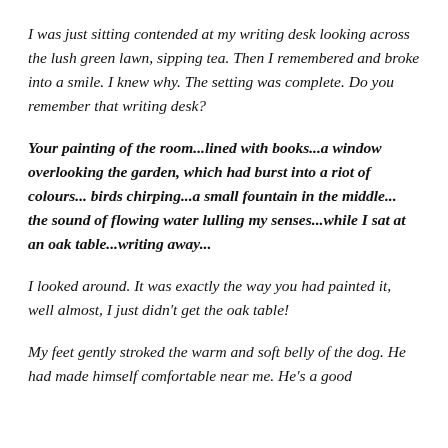I was just sitting contended at my writing desk looking across the lush green lawn, sipping tea. Then I remembered and broke into a smile. I knew why. The setting was complete. Do you remember that writing desk?
Your painting of the room...lined with books...a window overlooking the garden, which had burst into a riot of colours... birds chirping...a small fountain in the middle... the sound of flowing water lulling my senses...while I sat at an oak table...writing away...
I looked around. It was exactly the way you had painted it, well almost, I just didn’t get the oak table!
My feet gently stroked the warm and soft belly of the dog. He had made himself comfortable near me. He’s a good